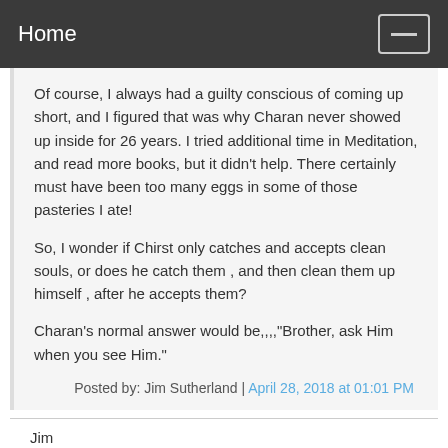Home
Of course, I always had a guilty conscious of coming up short, and I figured that was why Charan never showed up inside for 26 years. I tried additional time in Meditation, and read more books, but it didn't help. There certainly must have been too many eggs in some of those pasteries I ate!
So, I wonder if Chirst only catches and accepts clean souls, or does he catch them , and then clean them up himself , after he accepts them?
Charan's normal answer would be,,,,"Brother, ask Him when you see Him."
Posted by: Jim Sutherland | April 28, 2018 at 01:01 PM
Jim
Real progress happens when you can just sit in the darkness without needing to see anything or anyone, but in an overwhelming sense of gratitude for His presence